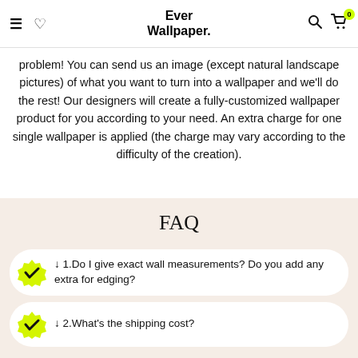Ever Wallpaper.
problem! You can send us an image (except natural landscape pictures) of what you want to turn into a wallpaper and we'll do the rest! Our designers will create a fully-customized wallpaper product for you according to your need. An extra charge for one single wallpaper is applied (the charge may vary according to the difficulty of the creation).
FAQ
↓ 1.Do I give exact wall measurements? Do you add any extra for edging?
↓ 2.What's the shipping cost?